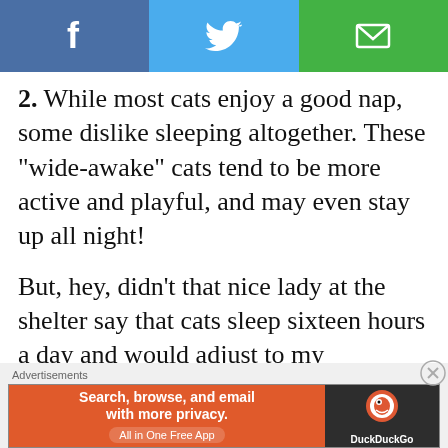[Figure (other): Social sharing bar with Facebook, Twitter, and email buttons]
2. While most cats enjoy a good nap, some dislike sleeping altogether. These “wide-awake” cats tend to be more active and playful, and may even stay up all night!
But, hey, didn’t that nice lady at the shelter say that cats sleep sixteen hours a day and would adjust to my schedule?
Advertisements
[Figure (screenshot): DuckDuckGo advertisement banner: Search, browse, and email with more privacy. All in One Free App. DuckDuckGo.]